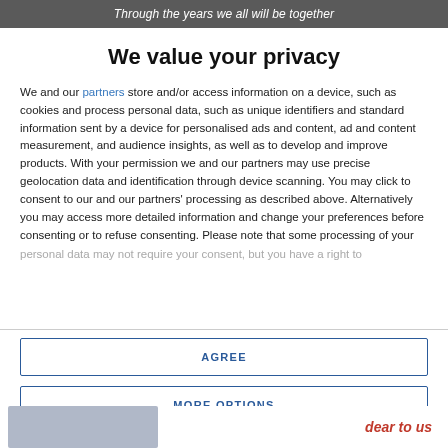Through the years we all will be together
We value your privacy
We and our partners store and/or access information on a device, such as cookies and process personal data, such as unique identifiers and standard information sent by a device for personalised ads and content, ad and content measurement, and audience insights, as well as to develop and improve products. With your permission we and our partners may use precise geolocation data and identification through device scanning. You may click to consent to our and our partners' processing as described above. Alternatively you may access more detailed information and change your preferences before consenting or to refuse consenting. Please note that some processing of your personal data may not require your consent, but you have a right to
AGREE
MORE OPTIONS